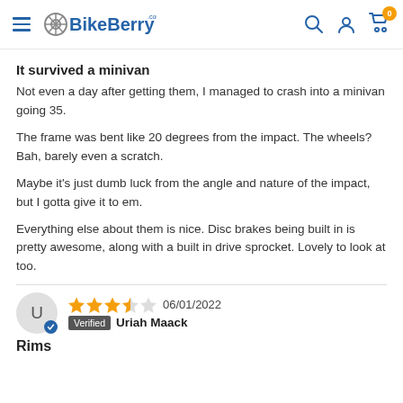BikeBerry.com
It survived a minivan
Not even a day after getting them, I managed to crash into a minivan going 35.
The frame was bent like 20 degrees from the impact. The wheels? Bah, barely even a scratch.
Maybe it's just dumb luck from the angle and nature of the impact, but I gotta give it to em.
Everything else about them is nice. Disc brakes being built in is pretty awesome, along with a built in drive sprocket. Lovely to look at too.
06/01/2022 - Verified - Uriah Maack - 3.5 stars
Rims